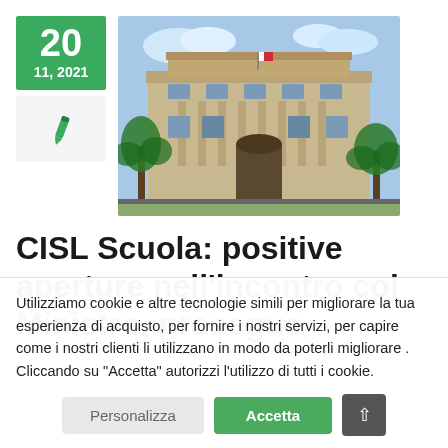[Figure (other): Date block showing '20' and '11, 2021' on green background, with pen icon below on grey background]
[Figure (photo): Photograph of a large neoclassical government building with palm trees and a flag visible]
CISL Scuola: positive aperture nell'incontro col Ministro, prosegue
Utilizziamo cookie e altre tecnologie simili per migliorare la tua esperienza di acquisto, per fornire i nostri servizi, per capire come i nostri clienti li utilizzano in modo da poterli migliorare . Cliccando su "Accetta" autorizzi l'utilizzo di tutti i cookie.